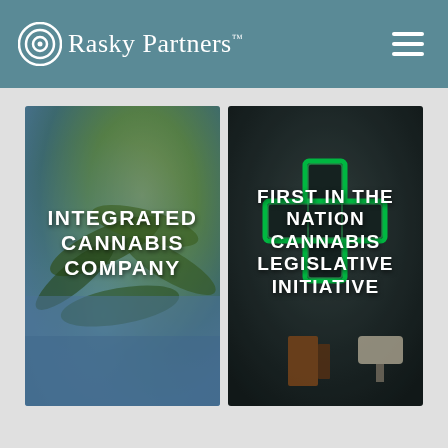Rasky Partners
[Figure (photo): Close-up photo of a hand in blue glove holding cannabis plant leaves against a green/blue bokeh background, with white bold uppercase text overlay reading INTEGRATED CANNABIS COMPANY]
[Figure (photo): Photo of a green neon pharmacy cross sign mounted on a dark wall with electrical components visible, with white bold uppercase text overlay reading FIRST IN THE NATION CANNABIS LEGISLATIVE INITIATIVE]